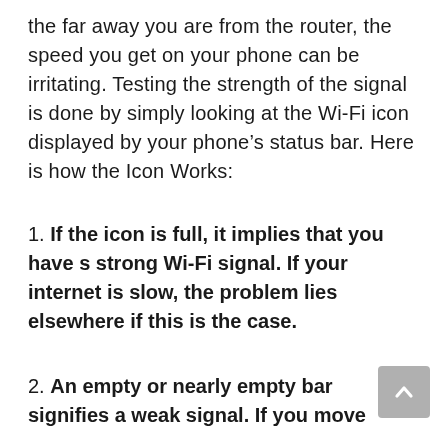the far away you are from the router, the speed you get on your phone can be irritating. Testing the strength of the signal is done by simply looking at the Wi-Fi icon displayed by your phone's status bar. Here is how the Icon Works:
1. If the icon is full, it implies that you have s strong Wi-Fi signal. If your internet is slow, the problem lies elsewhere if this is the case.
2. An empty or nearly empty bar signifies a weak signal. If you move